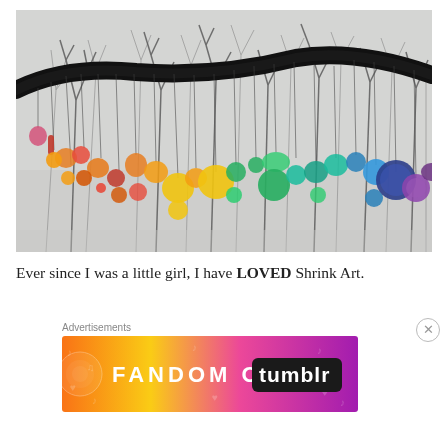[Figure (photo): Outdoor winter scene with bare leafless trees in the background and a large branch arching across the top. Hanging from the branch and twigs are many colorful glass or plastic disc ornaments arranged in a rainbow gradient from red/orange/pink on the left through yellow/green in the middle to blue/purple on the right.]
Ever since I was a little girl, I have LOVED Shrink Art.
Advertisements
[Figure (illustration): Advertisement banner with gradient background from orange/yellow on left to purple/pink on right, decorated with musical notes and hearts, reading 'FANDOM ON tumblr' in bold stylized text.]